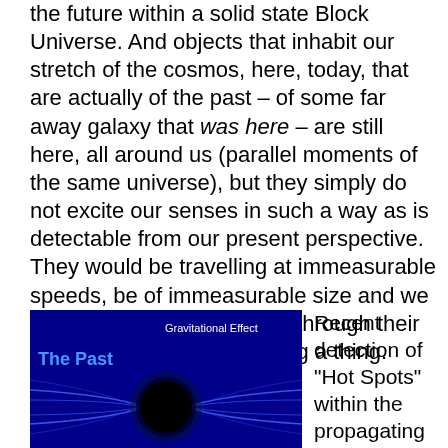the future within a solid state Block Universe. And objects that inhabit our stretch of the cosmos, here, today, that are actually of the past – of some far away galaxy that was here – are still here, all around us (parallel moments of the same universe), but they simply do not excite our senses in such a way as is detectable from our present perspective. They would be travelling at immeasurable speeds, be of immeasurable size and we would, in theory, pass right through their ancient aura without noticing a thing.
[Figure (illustration): Blue background image showing gravitational effect with 'The Past' label on upper left, 'Gravitational Effect' label top right, a black sphere in the center creating a gravitational lensing effect with curved blue light lines, 'The Present' label bottom right, and 'www.timesparadigm.com' watermark bottom left.]
Recent detection of "Hot Spots" within the propagating background radiation in which we are bathed, may be a sign of the past – or things